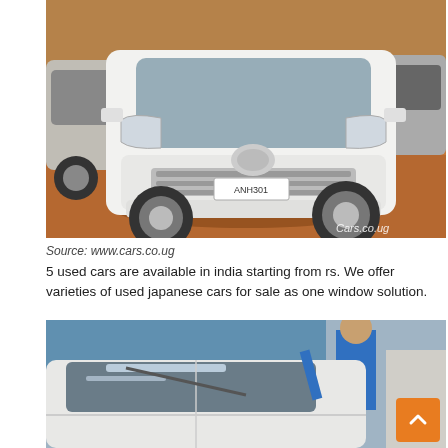[Figure (photo): White Toyota Vellfire/Alphard minivan parked on red dirt ground in a car lot, front view, with license plate 'ANH301'. Other cars visible in background. Watermark 'Cars.co.ug' in bottom right corner.]
Source: www.cars.co.ug
5 used cars are available in india starting from rs. We offer varieties of used japanese cars for sale as one window solution.
[Figure (photo): White Toyota Vellfire/Alphard minivan being cleaned or inspected, side/top view showing roof and windshield area. Person in blue shirt visible in background.]